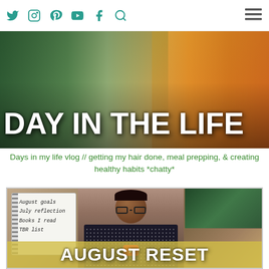Social media nav icons: Twitter, Instagram, Pinterest, YouTube, Facebook, Search, Menu
[Figure (screenshot): Blog/vlog hero banner image with text 'DAY IN THE LIFE' overlaid on a collage of lifestyle and food photos]
Days in my life vlog // getting my hair done, meal prepping, & creating healthy habits *chatty*
[Figure (screenshot): Video thumbnail showing a woman holding a notebook with text 'August goals, July reflection, Books I read, TBR list', with 'AUGUST RESET' banner at the bottom]